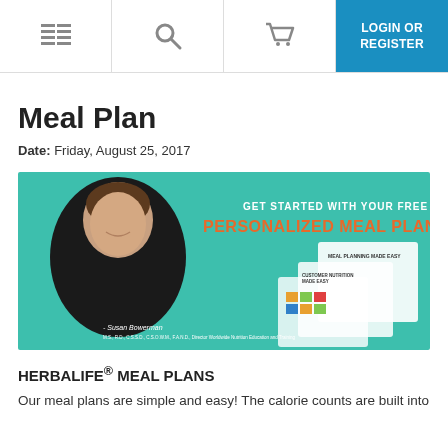LOGIN OR REGISTER
Meal Plan
Date: Friday, August 25, 2017
[Figure (photo): Promotional banner featuring Susan Bowerman with text 'Get started with your free Personalized Meal Plan!' over a teal background, with nutrition guides and meal plan sheets displayed.]
HERBALIFE® MEAL PLANS
Our meal plans are simple and easy! The calorie counts are built into